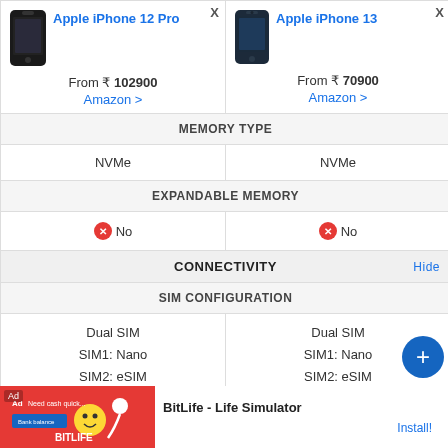| Apple iPhone 12 Pro | Apple iPhone 13 |
| --- | --- |
| From ₹ 102900
Amazon > | From ₹ 70900
Amazon > |
| MEMORY TYPE |  |
| NVMe | NVMe |
| EXPANDABLE MEMORY |  |
| ❌ No | ❌ No |
| CONNECTIVITY | Hide |
| SIM CONFIGURATION |  |
| Dual SIM
SIM1: Nano
SIM2: eSIM | Dual SIM
SIM1: Nano
SIM2: eSIM |
[Figure (infographic): Advertisement banner for BitLife - Life Simulator app with Install button]